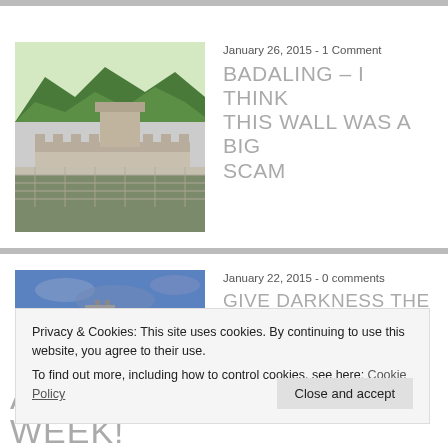[Figure (photo): Photo of the Great Wall of China at Badaling, with forested mountains in the background]
January 26, 2015 - 1 Comment
BADALING – I THINK THIS WALL WAS A BIG SCAM
[Figure (photo): Photo of a harbor/coastal scene with blue sky and construction cranes]
January 22, 2015 - 0 comments
GIVE DARKNESS THE FINGER
Privacy & Cookies: This site uses cookies. By continuing to use this website, you agree to their use.
To find out more, including how to control cookies, see here: Cookie Policy
ABSURDITY OF THE WEEK!